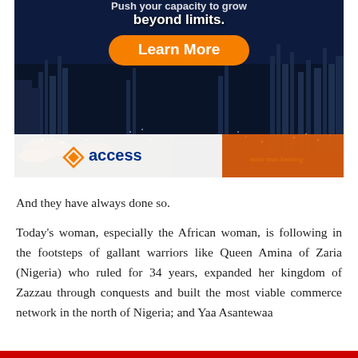[Figure (illustration): Access Bank advertisement banner showing a night cityscape/industrial skyline with 'beyond limits.' text, an orange 'Learn More' button, and the Access Bank logo with 'more than banking' tagline at the bottom]
And they have always done so.
Today's woman, especially the African woman, is following in the footsteps of gallant warriors like Queen Amina of Zaria (Nigeria) who ruled for 34 years, expanded her kingdom of Zazzau through conquests and built the most viable commerce network in the north of Nigeria; and Yaa Asantewaa